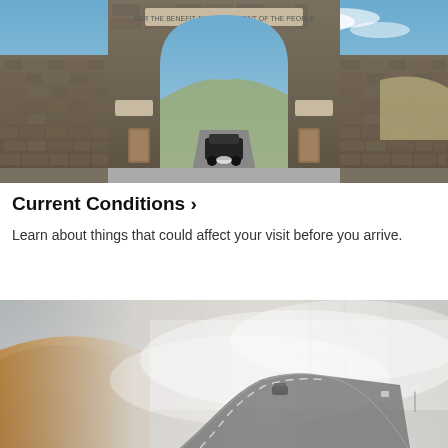[Figure (photo): A large stone arch gateway (Roosevelt Arch) at Yellowstone National Park entrance. A dark SUV is passing through the arch. Blue sky with light clouds visible above, with hills in the background.]
Current Conditions ›
Learn about things that could affect your visit before you arrive.
[Figure (photo): A winding road through a misty, foggy landscape at Yellowstone. Tall evergreen trees are partially obscured by thick fog or steam. Golden-brown hillside grass is visible on the left. A vehicle is on the road in the distance.]